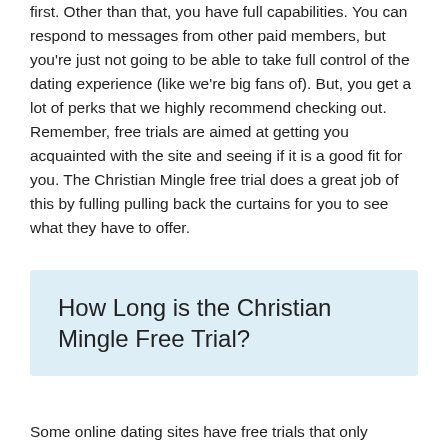first. Other than that, you have full capabilities. You can respond to messages from other paid members, but you're just not going to be able to take full control of the dating experience (like we're big fans of). But, you get a lot of perks that we highly recommend checking out. Remember, free trials are aimed at getting you acquainted with the site and seeing if it is a good fit for you. The Christian Mingle free trial does a great job of this by fulling pulling back the curtains for you to see what they have to offer.
How Long is the Christian Mingle Free Trial?
Some online dating sites have free trials that only